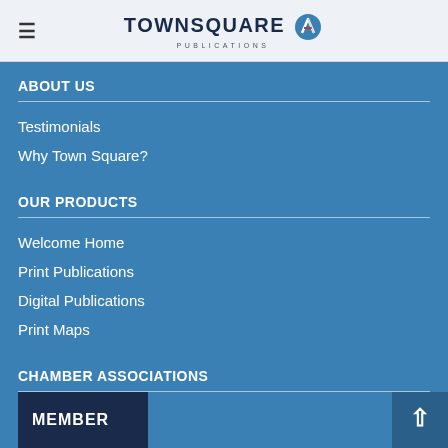TOWNSQUARE PUBLICATIONS
ABOUT US
Testimonials
Why Town Square?
OUR PRODUCTS
Welcome Home
Print Publications
Digital Publications
Print Maps
CHAMBER ASSOCIATIONS
MEMBER